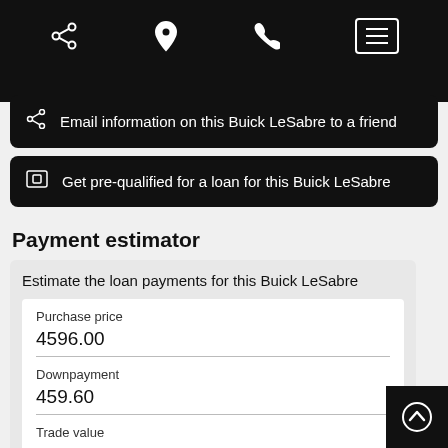Navigation bar with share, location, phone, and menu icons
Email information on this Buick LeSabre to a friend
Get pre-qualified for a loan for this Buick LeSabre
Payment estimator
Estimate the loan payments for this Buick LeSabre
Purchase price
4596.00
Downpayment
459.60
Trade value
0.00